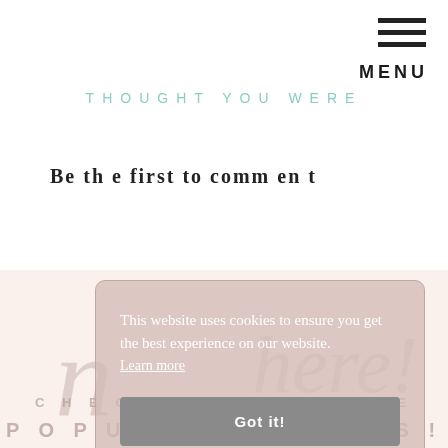MENU
THOUGHT YOU WERE
Be the first to comment
[Figure (screenshot): Bottom section with light pink background showing cursive watermark text 'n...here!' and spaced-letter headings 'CHECK OUT THESE' and 'POPULAR POSTS!']
This website uses cookies to ensure you get the best experience on our website. Learn more
Got it!